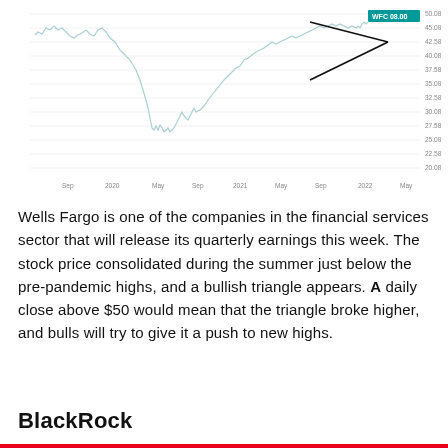[Figure (continuous-plot): Stock price chart for WFC (Wells Fargo) showing price history from Sep 2019 to May 2022. The chart shows a decline from ~$47 to ~$22 in early 2020, recovery through 2021, consolidation below pre-pandemic highs around $48-50 in 2022, with a bullish triangle pattern drawn with two converging lines. A teal ticker label 'WFC 08.00' appears in the upper right. Y-axis labels on right: 50.08, 45.08, 42.58, 40.08, 37.58, 35.08, 32.58, 30.08, 27.58, 25.08, 22.58, 20.08. X-axis shows: Sep, 2020, May, Sep, 2021, May, Sep, 2022, May.]
Wells Fargo is one of the companies in the financial services sector that will release its quarterly earnings this week. The stock price consolidated during the summer just below the pre-pandemic highs, and a bullish triangle appears. A daily close above $50 would mean that the triangle broke higher, and bulls will try to give it a push to new highs.
BlackRock